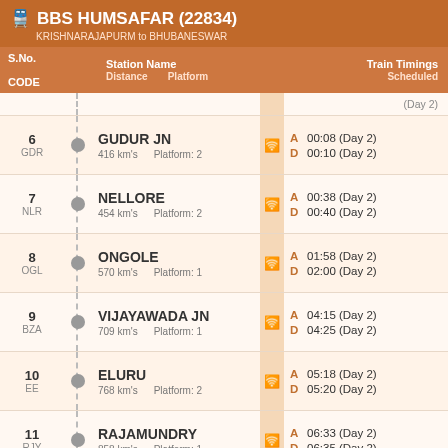BBS HUMSAFAR (22834) - KRISHNARAJAPURM to BHUBANESWAR
| S.No. CODE | Station Name / Distance / Platform | Train Timings Scheduled |
| --- | --- | --- |
| 6 GDR | GUDUR JN / 416 km's / Platform: 2 | A 00:08 (Day 2) / D 00:10 (Day 2) |
| 7 NLR | NELLORE / 454 km's / Platform: 2 | A 00:38 (Day 2) / D 00:40 (Day 2) |
| 8 OGL | ONGOLE / 570 km's / Platform: 1 | A 01:58 (Day 2) / D 02:00 (Day 2) |
| 9 BZA | VIJAYAWADA JN / 709 km's / Platform: 1 | A 04:15 (Day 2) / D 04:25 (Day 2) |
| 10 EE | ELURU / 768 km's / Platform: 2 | A 05:18 (Day 2) / D 05:20 (Day 2) |
| 11 RJY | RAJAMUNDRY / 858 km's / Platform: 1 | A 06:33 (Day 2) / D 06:35 (Day 2) |